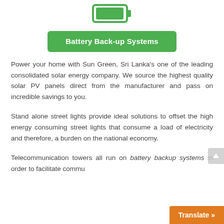[Figure (illustration): Battery icon outline in green color at the top center of the page]
Battery Back-up Systems
Power your home with Sun Green, Sri Lanka's one of the leading consolidated solar energy company. We source the highest quality solar PV panels direct from the manufacturer and pass on incredible savings to you.
Stand alone street lights provide ideal solutions to offset the high energy consuming street lights that consume a load of electricity and therefore, a burden on the national economy.
Telecommunication towers all run on battery backup systems in order to facilitate commu…